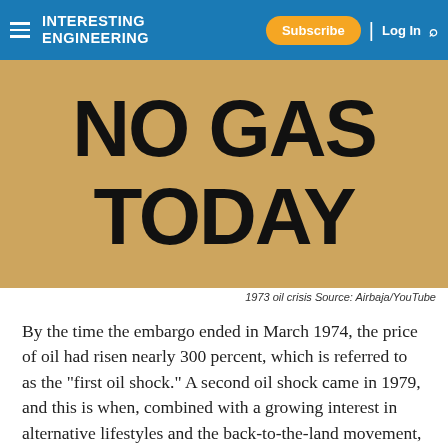INTERESTING ENGINEERING — Subscribe | Log In
[Figure (photo): Photo of a sign reading 'NO GAS TODAY' — 1973 oil crisis. Source: Airbaja/YouTube]
1973 oil crisis Source: Airbaja/YouTube
By the time the embargo ended in March 1974, the price of oil had risen nearly 300 percent, which is referred to as the "first oil shock." A second oil shock came in 1979, and this is when, combined with a growing interest in alternative lifestyles and the back-to-the-land movement, interest in earth houses took off.